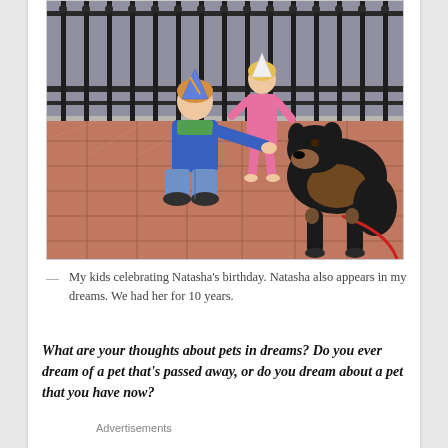[Figure (photo): Two children and a Rottweiler dog outdoors on a tiled terracotta patio with iron fence bars in the background. A boy in a blue/green jacket wearing a party hat kneels and reaches toward the dog. A girl in a pink outfit stands behind. The dog is large and black-and-tan, sitting calmly.]
— My kids celebrating Natasha’s birthday. Natasha also appears in my dreams. We had her for 10 years.
What are your thoughts about pets in dreams? Do you ever dream of a pet that’s passed away, or do you dream about a pet that you have now?
Advertisements